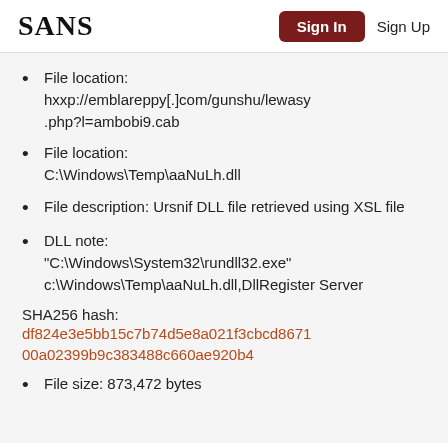SANS | Sign In | Sign Up
File location: hxxp://emblareppy[.]com/gunshu/lewasy.php?l=ambobi9.cab
File location: C:\Windows\Temp\aaNuLh.dll
File description: Ursnif DLL file retrieved using XSL file
DLL note: "C:\Windows\System32\rundll32.exe" c:\Windows\Temp\aaNuLh.dll,DllRegisterServer
SHA256 hash:
df824e3e5bb15c7b74d5e8a021f3cbcd867100a02399b9c383488c660ae920b4
File size: 873,472 bytes